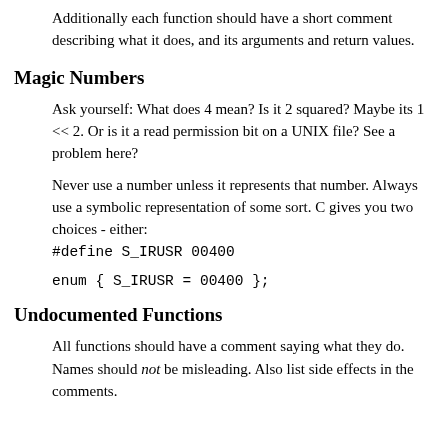Additionally each function should have a short comment describing what it does, and its arguments and return values.
Magic Numbers
Ask yourself: What does 4 mean? Is it 2 squared? Maybe its 1 << 2. Or is it a read permission bit on a UNIX file? See a problem here?
Never use a number unless it represents that number. Always use a symbolic representation of some sort. C gives you two choices - either:
#define S_IRUSR 00400
enum { S_IRUSR = 00400 };
Undocumented Functions
All functions should have a comment saying what they do. Names should not be misleading. Also list side effects in the comments.